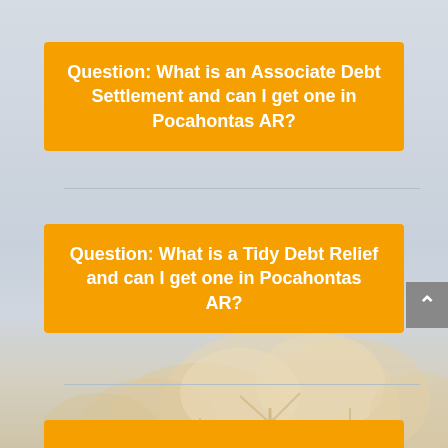Question: What is an Associate Debt Settlement and can I get one in Pocahontas AR?
Question: What is a Tidy Debt Relief and can I get one in Pocahontas AR?